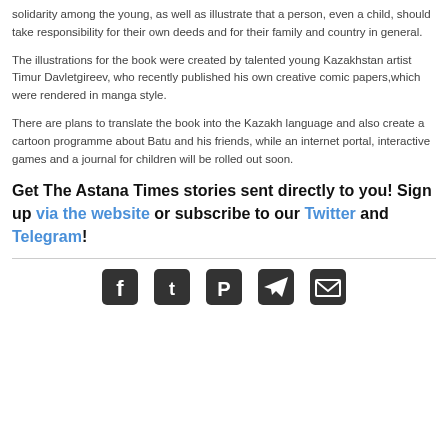solidarity among the young, as well as illustrate that a person, even a child, should take responsibility for their own deeds and for their family and country in general.
The illustrations for the book were created by talented young Kazakhstan artist Timur Davletgireev, who recently published his own creative comic papers,which were rendered in manga style.
There are plans to translate the book into the Kazakh language and also create a cartoon programme about Batu and his friends, while an internet portal, interactive games and a journal for children will be rolled out soon.
Get The Astana Times stories sent directly to you! Sign up via the website or subscribe to our Twitter and Telegram!
[Figure (infographic): Social media sharing icons: Facebook, Twitter, Pinterest, Telegram, Email]